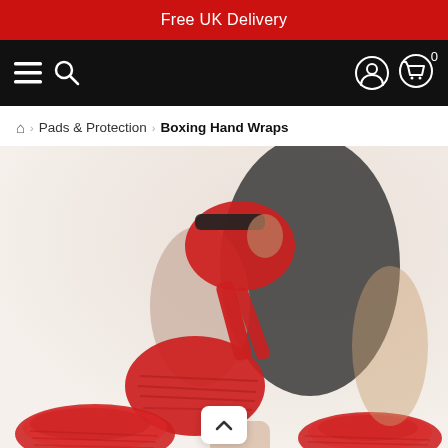Free UK Delivery
[Figure (screenshot): Black navigation bar with hamburger menu icon, search icon on the left, and user account icon and shopping cart icon with '0' badge on the right]
⌂ › Pads & Protection › Boxing Hand Wraps
[Figure (photo): Product photo: A boxer wrapping red hand wraps around their hands and wrists, with two coils of red hand wrap at the bottom of the image]